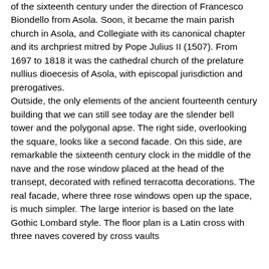of the sixteenth century under the direction of Francesco Biondello from Asola. Soon, it became the main parish church in Asola, and Collegiate with its canonical chapter and its archpriest mitred by Pope Julius II (1507). From 1697 to 1818 it was the cathedral church of the prelature nullius dioecesis of Asola, with episcopal jurisdiction and prerogatives. Outside, the only elements of the ancient fourteenth century building that we can still see today are the slender bell tower and the polygonal apse. The right side, overlooking the square, looks like a second facade. On this side, are remarkable the sixteenth century clock in the middle of the nave and the rose window placed at the head of the transept, decorated with refined terracotta decorations. The real facade, where three rose windows open up the space, is much simpler. The large interior is based on the late Gothic Lombard style. The floor plan is a Latin cross with three naves covered by cross vaults